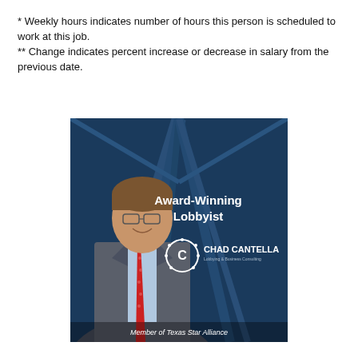* Weekly hours indicates number of hours this person is scheduled to work at this job.
** Change indicates percent increase or decrease in salary from the previous date.
[Figure (photo): Promotional photo of Chad Cantella, Award-Winning Lobbyist, Member of Texas Star Alliance. Man in grey suit and red tie smiling, with text overlay on dark blue background with logo.]